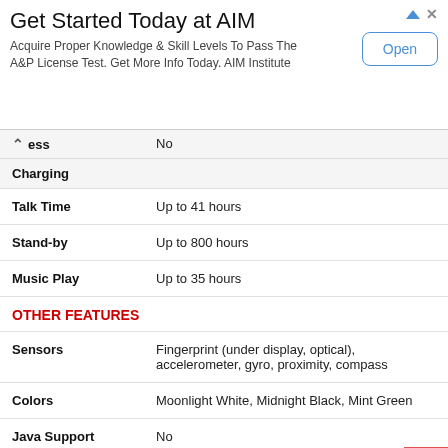[Figure (other): Advertisement banner for AIM Institute with 'Get Started Today at AIM' heading, descriptive text, and an Open button]
| Feature | Value |
| --- | --- |
| ess (Wireless Charging) | No |
| Charging |  |
| Talk Time | Up to 41 hours |
| Stand-by | Up to 800 hours |
| Music Play | Up to 35 hours |
| OTHER FEATURES |  |
| Sensors | Fingerprint (under display, optical), accelerometer, gyro, proximity, compass |
| Colors | Moonlight White, Midnight Black, Mint Green |
| Java Support | No |
|  | - Xiaomi ◇ Redmi K30 Ultra |